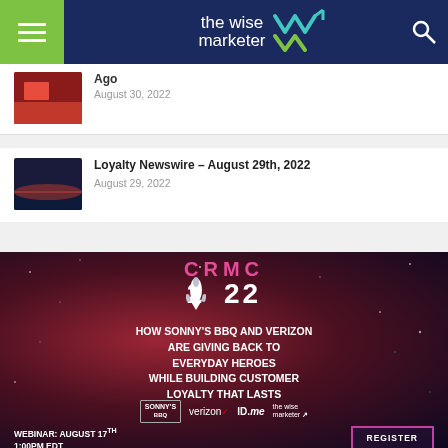the wise marketer
Ago
August 30, 2022
Loyalty Newswire – August 29th, 2022
August 29, 2022
[Figure (infographic): CRMC 2022 webinar ad — HOW SONNY'S BBQ AND VERIZON ARE GIVING BACK TO EVERYDAY HEROES WHILE BUILDING CUSTOMER LOYALTY THAT LASTS. Webinar: August 17th 1:00PM EDT. Logos: Sonny's BBQ, Verizon, ID.me, the wise marketer. Register button.]